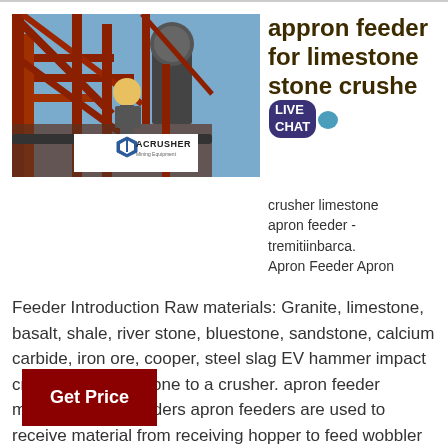[Figure (photo): Industrial mining/crushing facility with red metal structures, conveyor belts, and a worker in yellow hard hat. ACRUSHER Mining Equipment logo overlay at bottom.]
appron feeder for limestone stone crusher
crusher limestone apron feeder - tremitiinbarca. Apron Feeder Apron Feeder Introduction Raw materials: Granite, limestone, basalt, shale, river stone, bluestone, sandstone, calcium carbide, iron ore, cooper, steel slag EV hammer impact crusher - FL limestone to a crusher. apron feeder minerals apron feeders apron feeders are used to receive material from receiving hopper to feed wobbler
Get Price